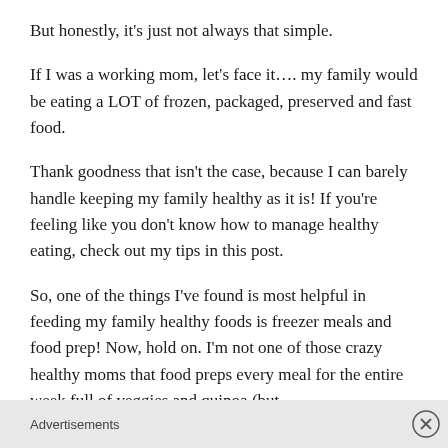But honestly, it's just not always that simple.
If I was a working mom, let's face it…. my family would be eating a LOT of frozen, packaged, preserved and fast food.
Thank goodness that isn't the case, because I can barely handle keeping my family healthy as it is! If you're feeling like you don't know how to manage healthy eating, check out my tips in this post.
So, one of the things I've found is most helpful in feeding my family healthy foods is freezer meals and food prep! Now, hold on. I'm not one of those crazy healthy moms that food preps every meal for the entire week full of veggies and quinoa (but
Advertisements